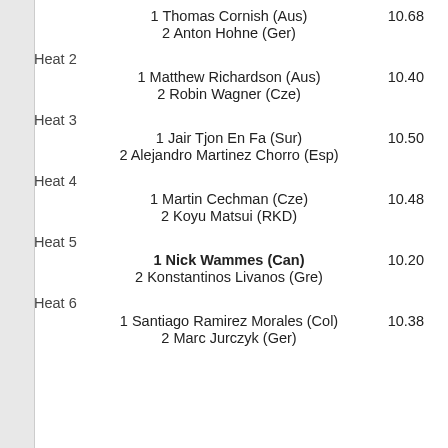1 Thomas Cornish (Aus)  10.68
2 Anton Hohne (Ger)
Heat 2
1 Matthew Richardson (Aus)  10.40
2 Robin Wagner (Cze)
Heat 3
1 Jair Tjon En Fa (Sur)  10.50
2 Alejandro Martinez Chorro (Esp)
Heat 4
1 Martin Cechman (Cze)  10.48
2 Koyu Matsui (RKD)
Heat 5
1 Nick Wammes (Can)  10.20
2 Konstantinos Livanos (Gre)
Heat 6
1 Santiago Ramirez Morales (Col)  10.38
2 Marc Jurczyk (Ger)